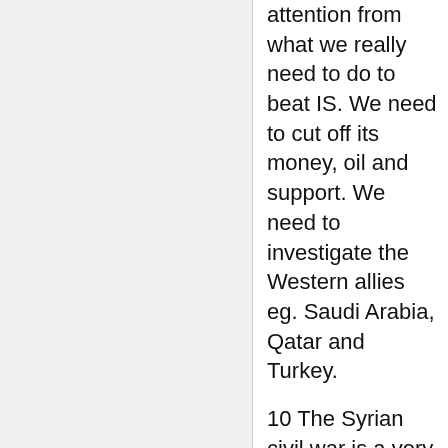attention from what we really need to do to beat IS. We need to cut off its money, oil and support. We need to investigate the Western allies eg. Saudi Arabia, Qatar and Turkey.
10 The Syrian civil war is a very complex problem in the region. The